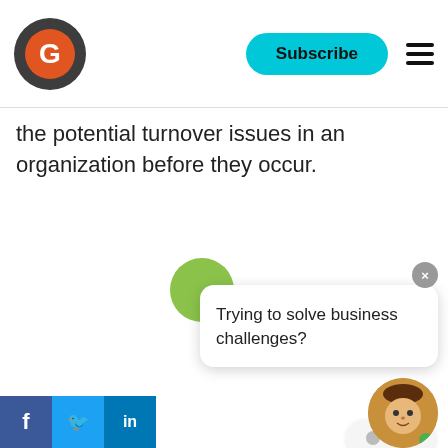Logo | Subscribe | Menu
the potential turnover issues in an organization before they occur.
[Figure (screenshot): Chat widget popup with question 'Trying to solve business challenges?' and response options 'Yes' and 'Not yet. I'm looking for career info', with avatar and close button]
Anchor in company c...
Culture is a touchsto... back to again and again. It is also an important port in the storm of any crisis. Every company sho... stay true to its culture and values, ensuring t... reallocation, reskilling, and hiring practices are
Facebook | Twitter | LinkedIn